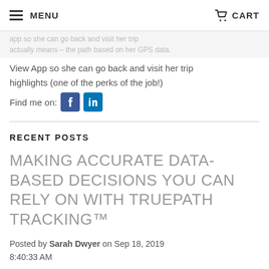MENU  CART
View App so she can go back and visit her trip highlights (one of the perks of the job!)
Find me on: [Facebook] [LinkedIn]
RECENT POSTS
MAKING ACCURATE DATA-BASED DECISIONS YOU CAN RELY ON WITH TRUEPATH TRACKING™
Posted by Sarah Dwyer on Sep 18, 2019 8:40:33 AM
[Figure (other): Tweet and LinkedIn Share buttons]